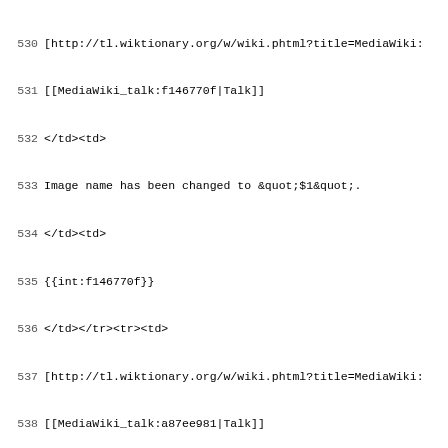530 [http://tl.wiktionary.org/w/wiki.phtml?title=MediaWiki:
531 [[MediaWiki_talk:f146770f|Talk]]
532 </td><td>
533 Image name has been changed to &quot;$1&quot;.
534 </td><td>
535 {{int:f146770f}}
536 </td></tr><tr><td>
537 [http://tl.wiktionary.org/w/wiki.phtml?title=MediaWiki:
538 [[MediaWiki_talk:a87ee981|Talk]]
539 </td><td>
540 &quot;.$1&quot; is not a recommended image file format.
541 </td><td>
542 {{int:a87ee981}}
543 </td></tr><tr><td>
544 [http://tl.wiktionary.org/w/wiki.phtml?title=MediaWiki:
545 [[MediaWiki_talk:0222775a|Talk]]
546 </td><td>
547 Invalid IP address
548 </td><td>
549 {{int:0222775a}}
550 </td></tr><tr><td>
551 [http://tl.wiktionary.org/w/wiki.phtml?title=MediaWiki:
552 [[MediaWiki_talk:feabd786|Talk]]
553 </td><td>
554 Badly formed search query
555 </td><td>
556 {{int:feabd786}}
557 </td></tr><tr><td>
558 [http://tl.wiktionary.org/w/wiki.phtml?title=MediaWiki:
559 [[MediaWiki_talk:7e82f04b|Talk]]
560 </td><td>
561 We could not process your query.
562 This is probably because you have attempted to search